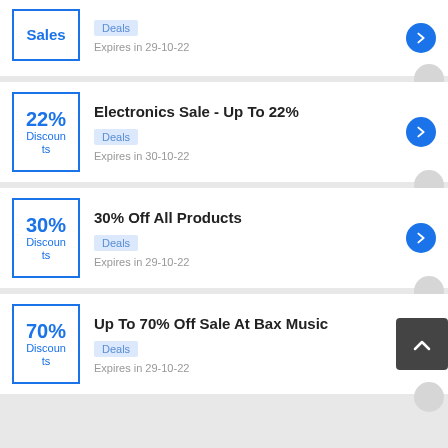Sales — Deals, Expires in 29-10-22 (partial card at top)
Electronics Sale - Up To 22% — 22% Discounts — Deals — Expires in 30-10-22
30% Off All Products — 30% Discounts — Deals — Expires in 29-10-22
Up To 70% Off Sale At Bax Music — 70% Discounts — Deals — Expires in 29-10-22